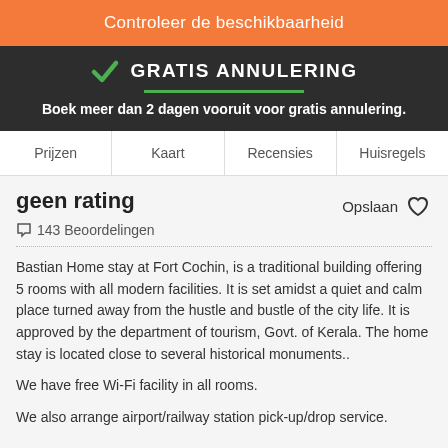Controleer de beschikbaarheid
[Figure (infographic): Green checkmark icon with text GRATIS ANNULERING and green underline, dark background banner]
Boek meer dan 2 dagen vooruit voor gratis annulering.
Prijzen   Kaart   Recensies   Huisregels
geen rating
Opslaan
143 Beoordelingen
Bastian Home stay at Fort Cochin, is a traditional building offering 5 rooms with all modern facilities. It is set amidst a quiet and calm place turned away from the hustle and bustle of the city life. It is approved by the department of tourism, Govt. of Kerala. The home stay is located close to several historical monuments..
We have free Wi-Fi facility in all rooms.
We also arrange airport/railway station pick-up/drop service.